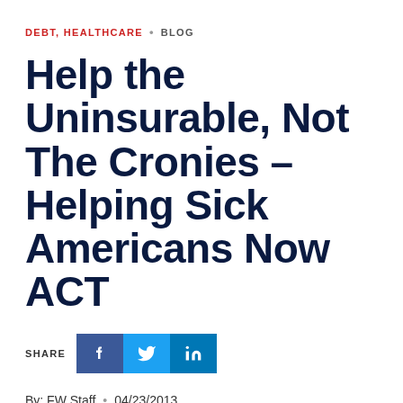DEBT, HEALTHCARE · BLOG
Help the Uninsurable, Not The Cronies – Helping Sick Americans Now ACT
[Figure (other): Social share buttons: Facebook (blue), Twitter (light blue), LinkedIn (dark blue)]
By: FW Staff · 04/23/2013
As Dean Clancy wrote last week, the House